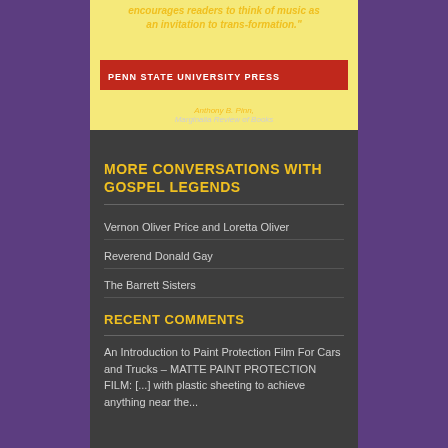[Figure (illustration): Penn State University Press book cover with yellow background, red banner, yellow italic quote text about music as invitation to transformation, attribution to Anthony B. Pinn, Marginalia Review of Books]
MORE CONVERSATIONS WITH GOSPEL LEGENDS
Vernon Oliver Price and Loretta Oliver
Reverend Donald Gay
The Barrett Sisters
RECENT COMMENTS
An Introduction to Paint Protection Film For Cars and Trucks – MATTE PAINT PROTECTION FILM: [...] with plastic sheeting to achieve anything near the...